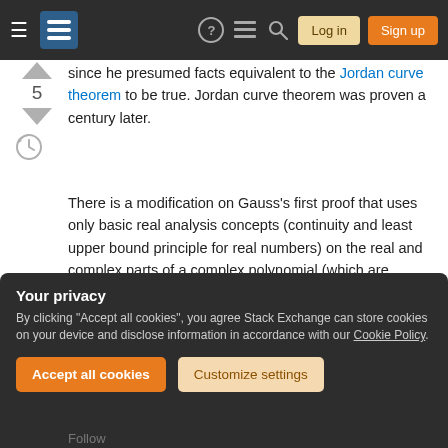Stack Exchange navigation bar with Log in and Sign up buttons
since he presumed facts equivalent to the Jordan curve theorem to be true. Jordan curve theorem was proven a century later.
There is a modification on Gauss's first proof that uses only basic real analysis concepts (continuity and least upper bound principle for real numbers) on the real and complex parts of a complex polynomial (which are bivariate polynomials in either (r, θ) or (x, y)): On Gauss's first proof of the fundamental theorem of algebra
Your privacy
By clicking "Accept all cookies", you agree Stack Exchange can store cookies on your device and disclose information in accordance with our Cookie Policy.